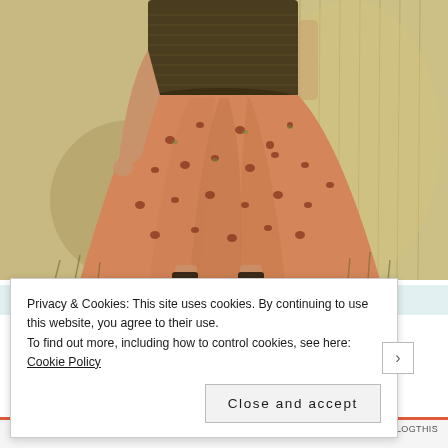[Figure (photo): A woman in a floral peach/orange midi dress with a smocked bodice standing in a field of tall dried grass. Only the torso and skirt are visible, no face shown.]
Privacy & Cookies: This site uses cookies. By continuing to use this website, you agree to their use.
To find out more, including how to control cookies, see here: Cookie Policy
Close and accept